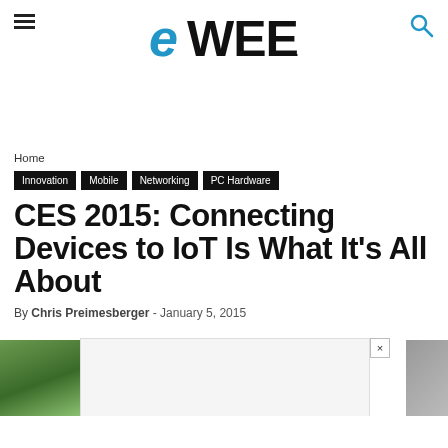eWEEK
Home
Innovation
Mobile
Networking
PC Hardware
CES 2015: Connecting Devices to IoT Is What It's All About
By Chris Preimesberger - January 5, 2015
[Figure (other): Advertisement/image placeholder at bottom of page with close button]